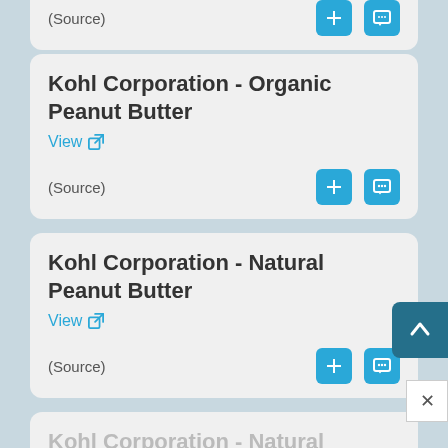(Source)
Kohl Corporation - Organic Peanut Butter
View
(Source)
Kohl Corporation - Natural Peanut Butter
View
(Source)
Kohl Corporation - Natural Crunchy Peanut Butter